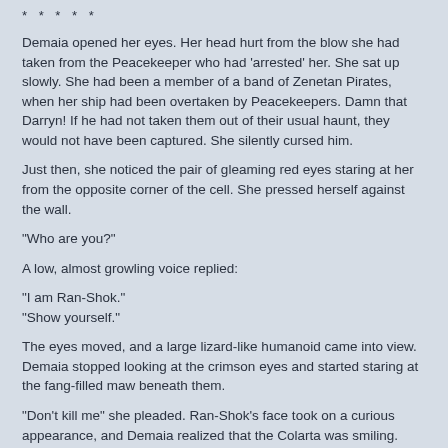* * * * *
Demaia opened her eyes. Her head hurt from the blow she had taken from the Peacekeeper who had 'arrested' her. She sat up slowly. She had been a member of a band of Zenetan Pirates, when her ship had been overtaken by Peacekeepers. Damn that Darryn! If he had not taken them out of their usual haunt, they would not have been captured. She silently cursed him.
Just then, she noticed the pair of gleaming red eyes staring at her from the opposite corner of the cell. She pressed herself against the wall.
"Who are you?"
A low, almost growling voice replied:
"I am Ran-Shok."
"Show yourself."
The eyes moved, and a large lizard-like humanoid came into view. Demaia stopped looking at the crimson eyes and started staring at the fang-filled maw beneath them.
"Don't kill me" she pleaded. Ran-Shok's face took on a curious appearance, and Demaia realized that the Colarta was smiling.